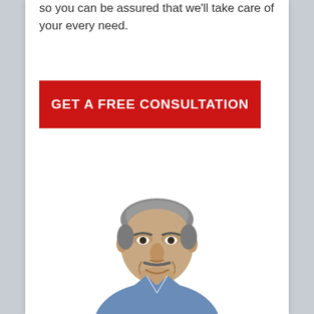so you can be assured that we'll take care of your every need.
[Figure (other): Red call-to-action button with white bold text reading GET A FREE CONSULTATION]
[Figure (photo): A middle-aged man with gray hair, smiling, wearing a blue shirt, photographed from the shoulders up against a white background]